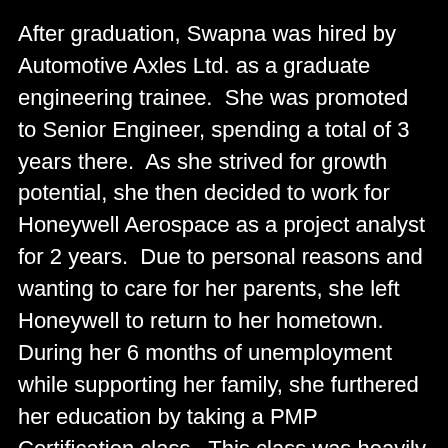After graduation, Swapna was hired by Automotive Axles Ltd. as a graduate engineering trainee.  She was promoted to Senior Engineer, spending a total of 3 years there.  As she strived for growth potential, she then decided to work for Honeywell Aerospace as a project analyst for 2 years.  Due to personal reasons and wanting to care for her parents, she left Honeywell to return to her hometown.  During her 6 months of unemployment while supporting her family, she furthered her education by taking a PMP Certification class.  This class was heavily focused on project management, an area of interest to her.  Once she rejoined the workforce, she returned to the Banglor province in the south, and was hired by TE.  She has since held several roles at TE.  Her first assignment as a project analyst responsible for schedule